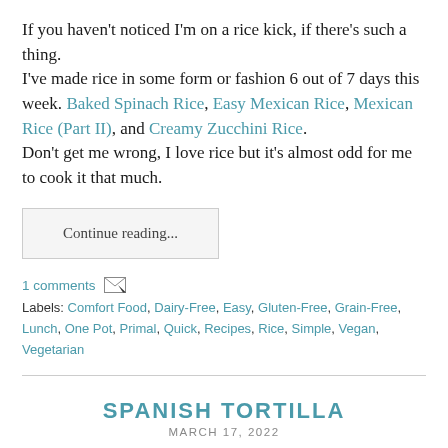If you haven't noticed I'm on a rice kick, if there's such a thing.
I've made rice in some form or fashion 6 out of 7 days this week. Baked Spinach Rice, Easy Mexican Rice, Mexican Rice (Part II), and Creamy Zucchini Rice.
Don't get me wrong, I love rice but it's almost odd for me to cook it that much.
Continue reading...
1 comments
Labels: Comfort Food, Dairy-Free, Easy, Gluten-Free, Grain-Free, Lunch, One Pot, Primal, Quick, Recipes, Rice, Simple, Vegan, Vegetarian
SPANISH TORTILLA
MARCH 17, 2022